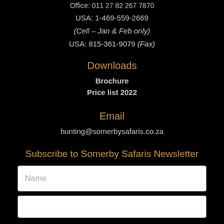Office: 011 27 82 267 7870
USA: 1-469-559-2669
(Cell – Jan & Feb only)
USA: 815-361-9079 (Fax)
Downloads
Brochure
Price list 2022
Email
hunting@somerbysafaris.co.za
Subscribe to Somerby Safaris Newsletter
Name